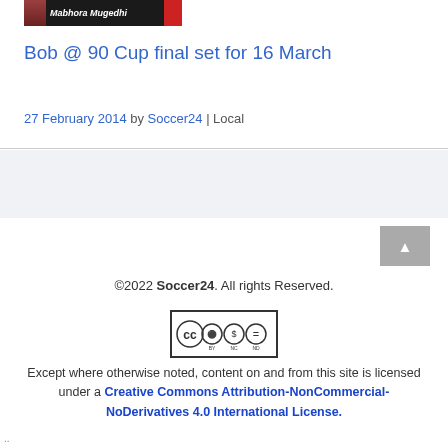[Figure (photo): Small photo thumbnail showing a person labeled 'Mabhora Mugedhi']
Bob @ 90 Cup final set for 16 March
27 February 2014 by Soccer24 | Local
[Figure (logo): Creative Commons BY NC ND license badge]
©2022 Soccer24. All rights Reserved.

Except where otherwise noted, content on and from this site is licensed under a Creative Commons Attribution-NonCommercial-NoDerivatives 4.0 International License.